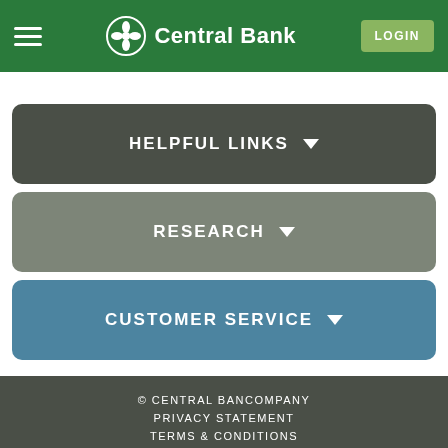Central Bank — LOGIN
HELPFUL LINKS
RESEARCH
CUSTOMER SERVICE
© CENTRAL BANCOMPANY
PRIVACY STATEMENT
TERMS & CONDITIONS
ACCESSIBILITY
SITEMAP